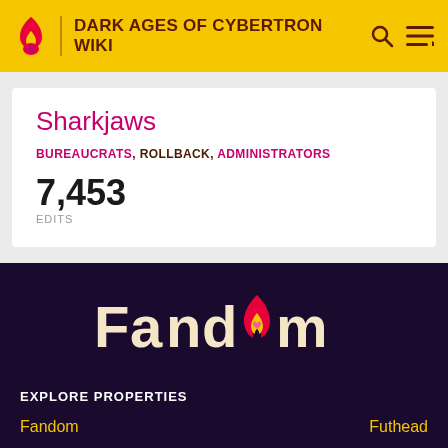DARK AGES OF CYBERTRON WIKI
Sharkjaws
BUREAUCRATS, ROLLBACK, ADMINISTRATORS
7,453 EDITS
[Figure (logo): Fandom logo with flame icon and heart, white/cream text on dark purple background]
EXPLORE PROPERTIES
Fandom
Futhead